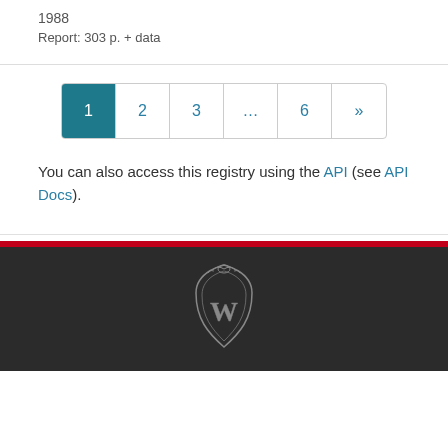1988
Report: 303 p. + data
You can also access this registry using the API (see API Docs).
[Figure (logo): University of Wisconsin crest/shield logo in grey outline on dark background]